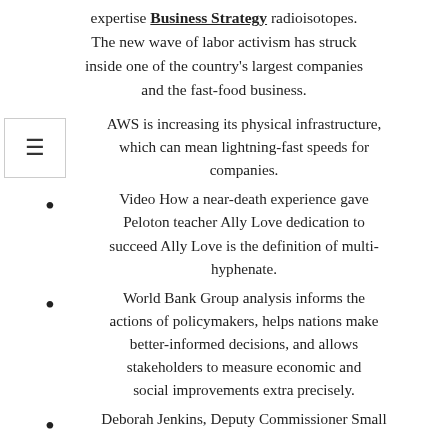expertise Business Strategy radioisotopes. The new wave of labor activism has struck inside one of the country's largest companies and the fast-food business.
AWS is increasing its physical infrastructure, which can mean lightning-fast speeds for companies.
Video How a near-death experience gave Peloton teacher Ally Love dedication to succeed Ally Love is the definition of multi-hyphenate.
World Bank Group analysis informs the actions of policymakers, helps nations make better-informed decisions, and allows stakeholders to measure economic and social improvements extra precisely.
Deborah Jenkins, Deputy Commissioner Small